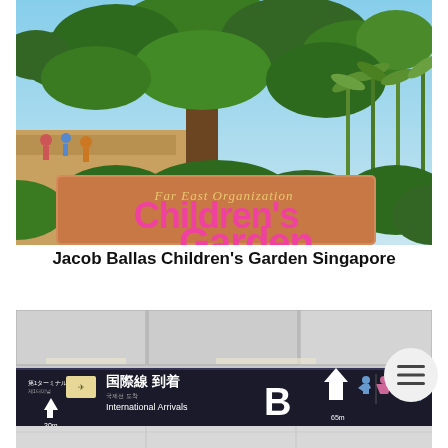[Figure (photo): Entrance sign of Jacob Ballas Children's Garden Singapore, showing large pink text 'Children's Garden' with 'Far East Organization' above it in gold text, surrounded by lush tropical trees and plants.]
Jacob Ballas Children's Garden Singapore
[Figure (photo): Airport directional sign in Japanese and English showing 'International Arrivals' (国際線 到着) with arrows, gate B marked, and directional icons for restrooms and accessibility. Signs are white text on dark background.]